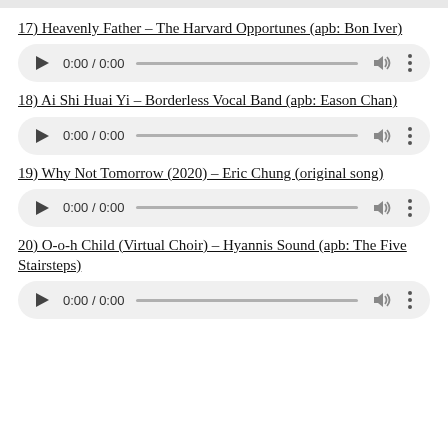17) Heavenly Father – The Harvard Opportunes (apb: Bon Iver)
[Figure (other): Audio player widget showing 0:00 / 0:00 with play button, progress bar, volume icon, and more options]
18) Ai Shi Huai Yi – Borderless Vocal Band (apb: Eason Chan)
[Figure (other): Audio player widget showing 0:00 / 0:00 with play button, progress bar, volume icon, and more options]
19) Why Not Tomorrow (2020) – Eric Chung (original song)
[Figure (other): Audio player widget showing 0:00 / 0:00 with play button, progress bar, volume icon, and more options]
20) O-o-h Child (Virtual Choir) – Hyannis Sound (apb: The Five Stairsteps)
[Figure (other): Audio player widget showing 0:00 / 0:00 with play button, progress bar, volume icon, and more options]